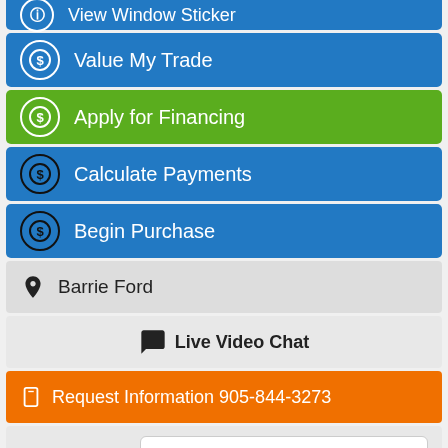View Window Sticker
Value My Trade
Apply for Financing
Calculate Payments
Begin Purchase
Barrie Ford
Live Video Chat
Request Information 905-844-3273
First Name*:
Last Name*: